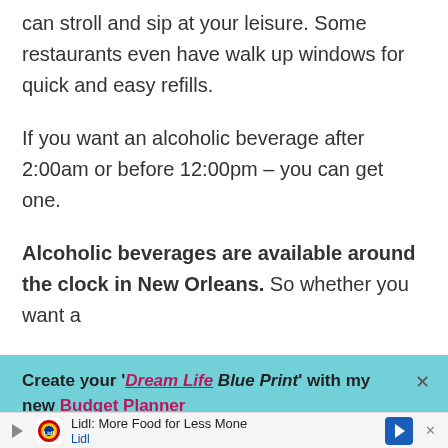can stroll and sip at your leisure. Some restaurants even have walk up windows for quick and easy refills.
If you want an alcoholic beverage after 2:00am or before 12:00pm – you can get one.
Alcoholic beverages are available around the clock in New Orleans. So whether you want a
[Figure (screenshot): Turquoise/cyan ad banner: "Create your 'Dream Life Blue Print' with my new Budget Planner" with a pink hyperlinked 'Dream Life' text and a close X button]
[Figure (screenshot): Bottom ad bar for Lidl: More Food for Less Money, showing Lidl logo, text, and a blue navigation arrow icon, with a close X]